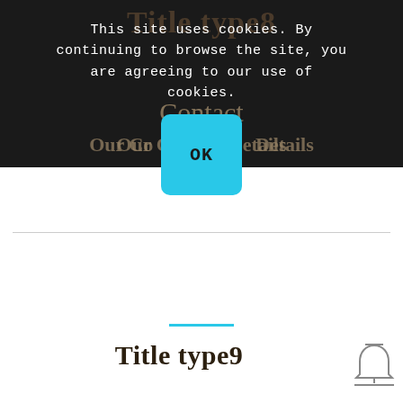Title type8
This site uses cookies. By continuing to browse the site, you are agreeing to our use of cookies.
OK
Contact
Our Contact Details
Title type9